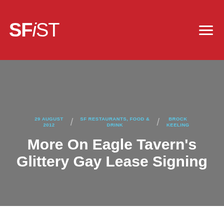SFiST
29 AUGUST 2012 / SF RESTAURANTS, FOOD & DRINK / BROCK KEELING
More On Eagle Tavern's Glittery Gay Lease Signing